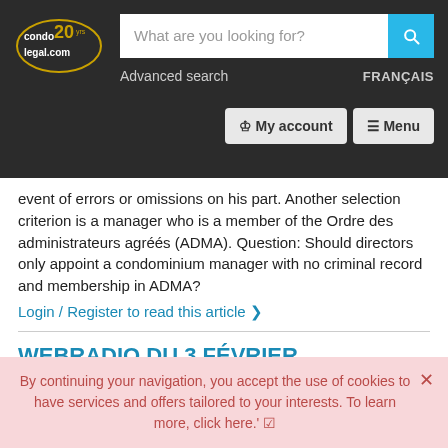[Figure (screenshot): Website navigation bar for condolegal.com with logo, search box, Advanced search link, FRANÇAIS language toggle, My account button, and Menu button on dark background]
event of errors or omissions on his part. Another selection criterion is a manager who is a member of the Ordre des administrateurs agréés (ADMA). Question: Should directors only appoint a condominium manager with no criminal record and membership in ADMA?
Login / Register to read this article ❯
WEBRADIO DU 3 FÉVRIER 2021/GESTIONNAIRES ET SYNDICATS: LE SECRET D'UN MARIAGE RÉUSSI
By continuing your navigation, you accept the use of cookies to have services and offers tailored to your interests. To learn more, click here.' ☑